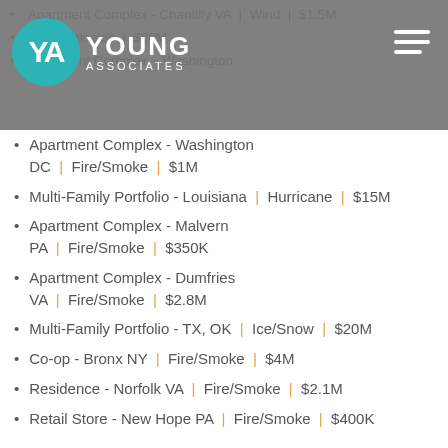YA Young Associates logo and navigation header
Apartment Complex - Chantilly VA | Wind | $1.5M
... Explosion | $20M
Apartment Complex - Washington DC | Fire/Smoke | $1M
Multi-Family Portfolio - Louisiana | Hurricane | $15M
Apartment Complex - Malvern PA | Fire/Smoke | $350K
Apartment Complex - Dumfries VA | Fire/Smoke | $2.8M
Multi-Family Portfolio - TX, OK | Ice/Snow | $20M
Co-op - Bronx NY | Fire/Smoke | $4M
Residence - Norfolk VA | Fire/Smoke | $2.1M
Retail Store - New Hope PA | Fire/Smoke | $400K
Professional Experience
2021 - Current Partner at YOUNG & Associates